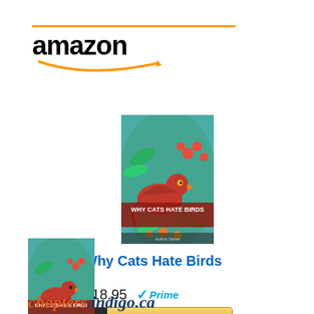[Figure (logo): Amazon logo with orange horizontal line above and smile arrow below the text 'amazon']
[Figure (photo): Book cover of 'Why Cats Hate Birds' showing a red bird among teal/green foliage and berries]
Why Cats Hate Birds
$18.95  ✓Prime
[Figure (other): Amazon 'Shop now' button with Amazon icon on dark background and golden gradient]
[Figure (photo): Smaller book cover of 'Why Cats Hate Birds']
[Figure (logo): chapters indigo.ca logo (partial, cut off at bottom)]